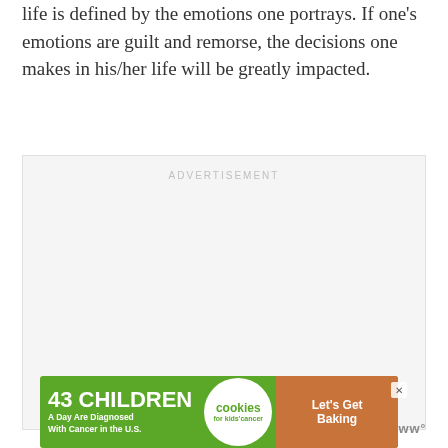life is defined by the emotions one portrays. If one's emotions are guilt and remorse, the decisions one makes in his/her life will be greatly impacted.
[Figure (other): Advertisement placeholder box with 'ADVERTISEMENT' label and three dots at bottom]
[Figure (other): Banner advertisement: '43 CHILDREN A Day Are Diagnosed With Cancer in the U.S.' with cookies for kids' cancer logo and 'Let's Get Baking' text on brown background]